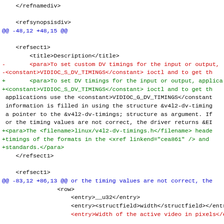diff --git code snippet showing XML documentation patch for VIDIOC_S_DV_TIMINGS and related kernel video timing structures
</refnamediv>

    <refsynopsisdiv>
@@ -48,12 +48,15 @@

    <refsect1>
        <title>Description</title>
-       <para>To set custom DV timings for the input or output,
-<constant>VIDIOC_S_DV_TIMINGS</constant> ioctl and to get th
+       <para>To set DV timings for the input or output, applica
+<constant>VIDIOC_S_DV_TIMINGS</constant> ioctl and to get th
 applications use the <constant>VIDIOC_G_DV_TIMINGS</constant
 information is filled in using the structure &v4l2-dv-timing
 a pointer to the &v4l2-dv-timings; structure as argument. If
 or the timing values are not correct, the driver returns &EI
+<para>The <filename>linux/v4l2-dv-timings.h</filename> heade
+timings of the formats in the <xref linkend="cea861" /> and
+standards.</para>
    </refsect1>

    <refsect1>
@@ -83,12 +86,13 @@ or the timing values are not correct, the
                <row>
                    <entry>__u32</entry>
                    <entry><structfield>width</structfield></entry>
                    <entry>Width of the active video in pixels</entry>